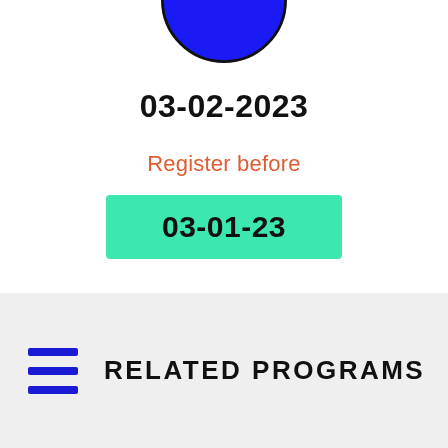[Figure (illustration): Bottom half of a blue filled circle with black outline, cropped at top of page]
03-02-2023
Register before
03-01-23
RELATED PROGRAMS